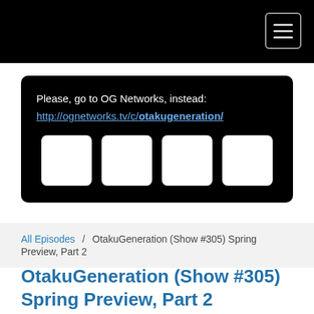Please, go to OG Networks, instead:
http://ognetworks.tv/c/otakugeneration/
[Figure (other): Four white square icon placeholders in a row on a black background]
All Episodes / OtakuGeneration (Show #305) Spring Preview, Part 2
OtakuGeneration (Show #305) Spring Preview, Part 2